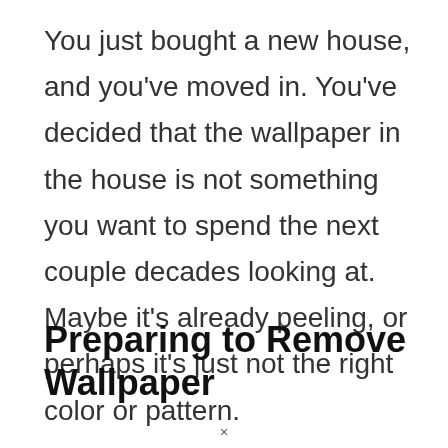You just bought a new house, and you've moved in. You've decided that the wallpaper in the house is not something you want to spend the next couple decades looking at. Maybe it's already peeling, or perhaps it's just not the right color or pattern.
Preparing to Remove Wallpaper